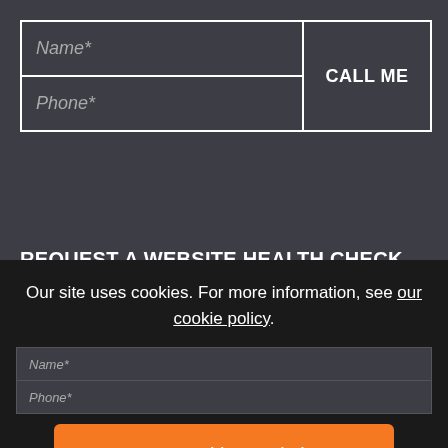[Figure (screenshot): Web form with Name* and Phone* input fields and a CALL ME button]
REQUEST A WEBSITE HEALTH CHECK
Already got a website? Get in touch and we'll take a look to discuss how we can improve it for you.
Our site uses cookies. For more information, see our cookie policy.
Accept cookies and close
Reject cookies
Manage settings